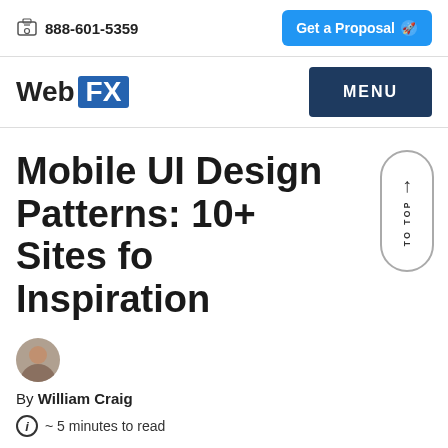888-601-5359   Get a Proposal
WebFX   MENU
Mobile UI Design Patterns: 10+ Sites for Inspiration
By William Craig
~ 5 minutes to read